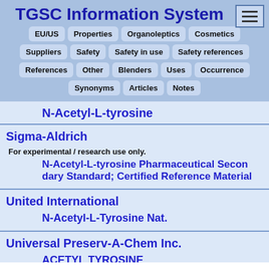TGSC Information System
EU/US  Properties  Organoleptics  Cosmetics  Suppliers  Safety  Safety in use  Safety references  References  Other  Blenders  Uses  Occurrence  Synonyms  Articles  Notes
N-Acetyl-L-tyrosine
Sigma-Aldrich
For experimental / research use only.
N-Acetyl-L-tyrosine Pharmaceutical Secondary Standard; Certified Reference Material
United International
N-Acetyl-L-Tyrosine Nat.
Universal Preserv-A-Chem Inc.
ACETYL TYROSINE